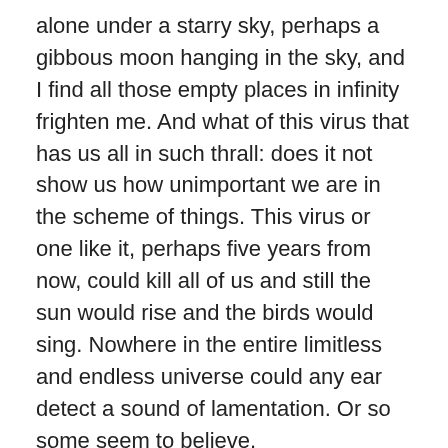alone under a starry sky, perhaps a gibbous moon hanging in the sky, and I find all those empty places in infinity frighten me. And what of this virus that has us all in such thrall: does it not show us how unimportant we are in the scheme of things. This virus or one like it, perhaps five years from now, could kill all of us and still the sun would rise and the birds would sing. Nowhere in the entire limitless and endless universe could any ear detect a sound of lamentation. Or so some seem to believe.
As for me, sir, I am as ignorant as Yeats's dawn, as the late afternoon shadows thrown on my porch by the river birch tree outside my study. I hasten to heed you that I speak with no authority. (In truth, I feel trepidation writing to a